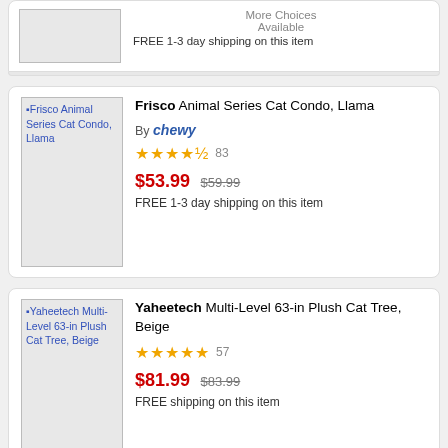[Figure (screenshot): Partial product card at top: More Choices Available text and FREE 1-3 day shipping on this item]
[Figure (screenshot): Frisco Animal Series Cat Condo, Llama product listing with image placeholder, Chewy brand, 4.5 stars (83 reviews), $53.99 sale price (was $59.99), FREE 1-3 day shipping]
[Figure (screenshot): Yaheetech Multi-Level 63-in Plush Cat Tree, Beige product listing with image placeholder, 5 stars (57 reviews), $81.99 sale price (was $83.99), FREE shipping, More Choices Available]
[Figure (screenshot): Partial product card at bottom, partially cut off]